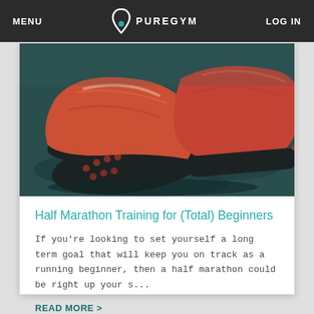MENU  PUREGYM  LOG IN
[Figure (photo): Close-up photo of red/coral running shoes on a dark textured surface, seen from behind and below, showing the soles.]
Half Marathon Training for (Total) Beginners
If you're looking to set yourself a long term goal that will keep you on track as a running beginner, then a half marathon could be right up your s...
READ MORE >